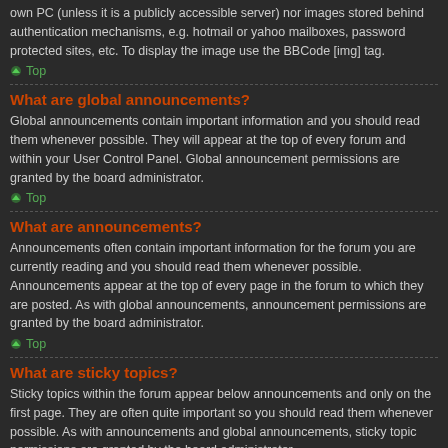own PC (unless it is a publicly accessible server) nor images stored behind authentication mechanisms, e.g. hotmail or yahoo mailboxes, password protected sites, etc. To display the image use the BBCode [img] tag.
Top
What are global announcements?
Global announcements contain important information and you should read them whenever possible. They will appear at the top of every forum and within your User Control Panel. Global announcement permissions are granted by the board administrator.
Top
What are announcements?
Announcements often contain important information for the forum you are currently reading and you should read them whenever possible. Announcements appear at the top of every page in the forum to which they are posted. As with global announcements, announcement permissions are granted by the board administrator.
Top
What are sticky topics?
Sticky topics within the forum appear below announcements and only on the first page. They are often quite important so you should read them whenever possible. As with announcements and global announcements, sticky topic permissions are granted by the board administrator.
Top